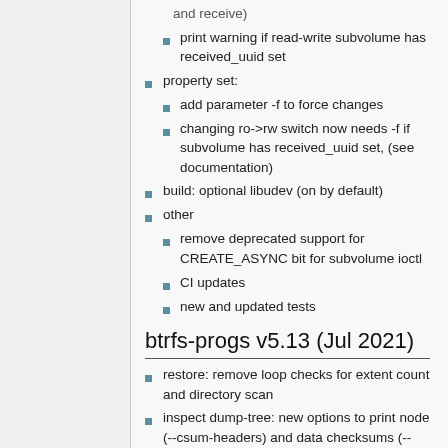and receive)
print warning if read-write subvolume has received_uuid set
property set:
add parameter -f to force changes
changing ro->rw switch now needs -f if subvolume has received_uuid set, (see documentation)
build: optional libudev (on by default)
other
remove deprecated support for CREATE_ASYNC bit for subvolume ioctl
CI updates
new and updated tests
btrfs-progs v5.13 (Jul 2021)
restore: remove loop checks for extent count and directory scan
inspect dump-tree: new options to print node (--csum-headers) and data checksums (--csum-items)